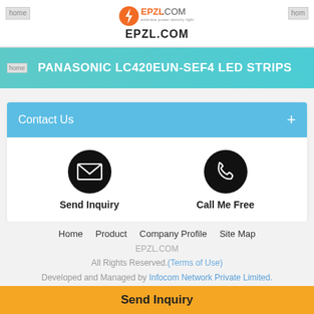EPZL.COM
PANASONIC LC420EUN-SEF4 LED STRIPS
Contact Us
[Figure (infographic): Send Inquiry icon (envelope) and Call Me Free icon (phone), shown as white icons on black circles]
Send Inquiry
Call Me Free
Home  Product  Company Profile  Site Map
EPZL.COM
All Rights Reserved.(Terms of Use)
Developed and Managed by Infocom Network Private Limited.
Go to Desktop
Send Inquiry